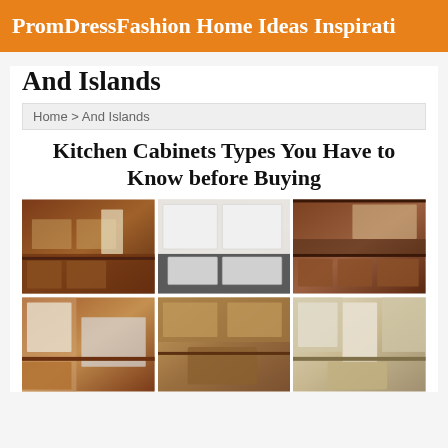PromDressFashion Home Ideas Inspirati…
And Islands
Home > And Islands
Kitchen Cabinets Types You Have to Know before Buying
[Figure (photo): Grid of 6 kitchen cabinet photos showing various styles including wood cabinets, white cabinets, and kitchen islands]
[Figure (photo): Kitchen with wooden cabinets and dark countertops]
[Figure (photo): Modern kitchen with white cabinets and dark floor]
[Figure (photo): Kitchen with warm wood cabinets and window]
[Figure (photo): Small kitchen with wood cabinets and white appliances]
[Figure (photo): Kitchen with oak cabinets and island]
[Figure (photo): Bright kitchen with white painted cabinets and island]